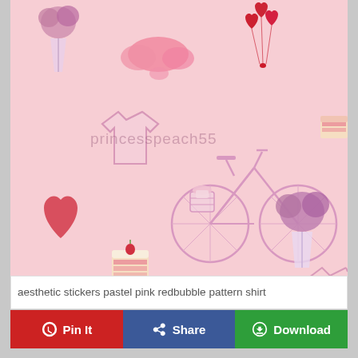[Figure (illustration): Pastel pink seamless pattern featuring aesthetic stickers: flowers in vases, bicycles with baskets, heart-shaped balloons, slice of cake, clouds, and sweaters/shirts, all in pink and purple tones. Watermark reads 'princesspeach55'.]
aesthetic stickers pastel pink redbubble pattern shirt
Pin It
Share
Download